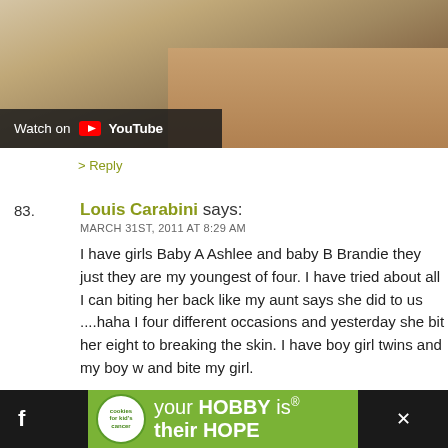[Figure (screenshot): YouTube video thumbnail showing baby legs on wooden floor with 'Watch on YouTube' overlay button]
> Reply
83. Louis Carabini says:
MARCH 31ST, 2011 AT 8:29 AM
I have girls Baby A Ashlee and baby B Brandie they just they are my youngest of four. I have tried about all I can biting her back like my aunt says she did to us ....haha I four different occasions and yesterday she bit her eight to breaking the skin. I have boy girl twins and my boy w and bite my girl.
> Reply
[Figure (screenshot): Advertisement banner: 'your HOBBY is their HOPE' with Cookies for Kid's Cancer logo on green background]